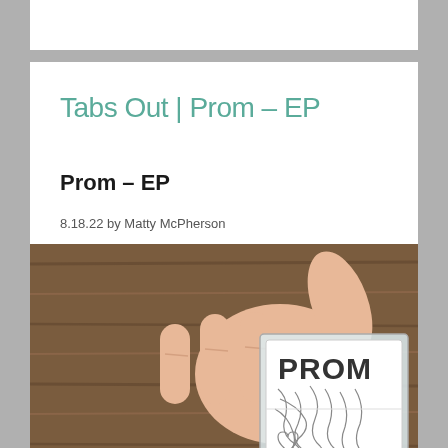Tabs Out | Prom – EP
Prom – EP
8.18.22 by Matty McPherson
[Figure (photo): A hand holding a cassette tape with 'PROM' printed on the cover, featuring an abstract line drawing. The cassette is in a clear plastic case. Background is a wooden surface.]